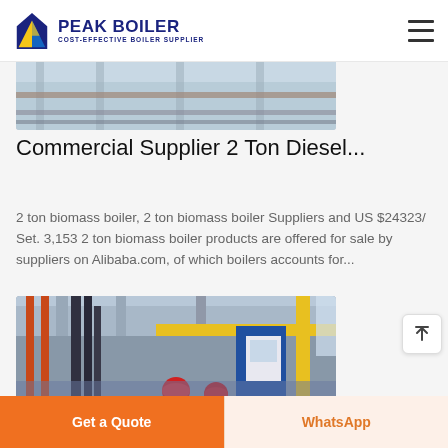PEAK BOILER — COST-EFFECTIVE BOILER SUPPLIER
[Figure (photo): Top portion of a boiler room/industrial equipment photo (partially visible, cropped at top)]
Commercial Supplier 2 Ton Diesel...
2 ton biomass boiler, 2 ton biomass boiler Suppliers and US $24323/ Set. 3,153 2 ton biomass boiler products are offered for sale by suppliers on Alibaba.com, of which boilers accounts for...
[Figure (photo): Interior of an industrial boiler room showing yellow and orange pipes, blue equipment panels, control panels, and red safety helmets on the floor]
Get a Quote
WhatsApp